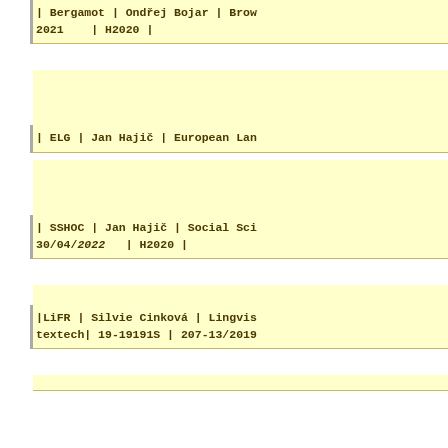| Bergamot | Ondřej Bojar | Brow... 2021 | H2020 |
| ELG | Jan Hajič | European Lan...
| SSHOC | Jan Hajič | Social Sci... 30/04/2022 | H2020 |
|LiFR | Silvie Cinková | Lingvis... textech| 19-19191S | 207-13/2019...
| NomVallex 2.0 | Veronika Kolář... | 2019-2021 | GAČR |
| CzeDParse | Jiří Mirovský | Au... 13/201937 | 2019-2021 | GAČR |